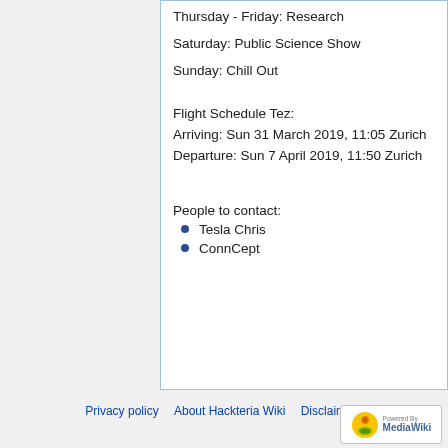Thursday - Friday: Research
Saturday: Public Science Show
Sunday: Chill Out
Flight Schedule Tez:
Arriving: Sun 31 March 2019, 11:05 Zurich
Departure: Sun 7 April 2019, 11:50 Zurich
People to contact:
Tesla Chris
ConnCept
Privacy policy   About Hackteria Wiki   Disclaimers